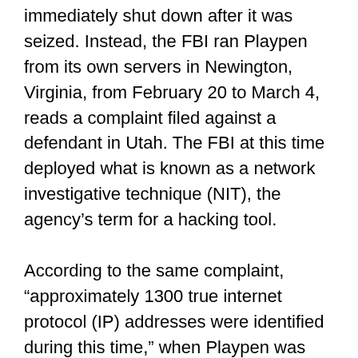immediately shut down after it was seized. Instead, the FBI ran Playpen from its own servers in Newington, Virginia, from February 20 to March 4, reads a complaint filed against a defendant in Utah. The FBI at this time deployed what is known as a network investigative technique (NIT), the agency's term for a hacking tool.
According to the same complaint, “approximately 1300 true internet protocol (IP) addresses were identified during this time,” when Playpen was being run out of a server in Virginia, and the hacking tool were infecting targets.
The legal counsel for one of the accused believes that the number of concluding cases may even be slightly